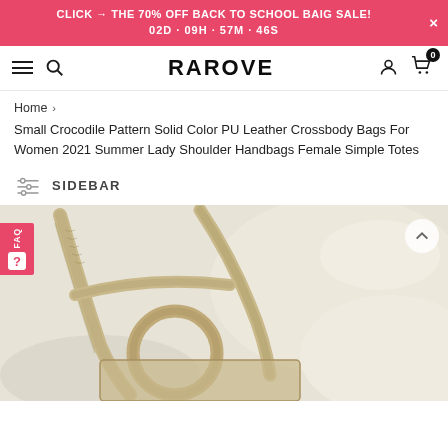CLICK → THE 70% OFF BACK TO SCHOOL BAIG SALE! 02D·09H·57M·46S
RAROVE
Home >
Small Crocodile Pattern Solid Color PU Leather Crossbody Bags For Women 2021 Summer Lady Shoulder Handbags Female Simple Totes
SIDEBAR
[Figure (photo): Close-up photo of a beige/cream colored crossbody bag with crocodile pattern straps and a circular ring handle, placed on light cream fabric]